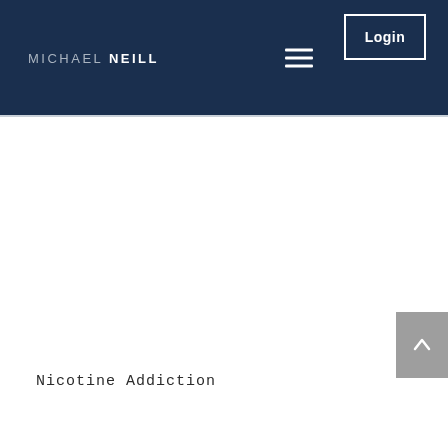MICHAEL NEILL
Nicotine Addiction